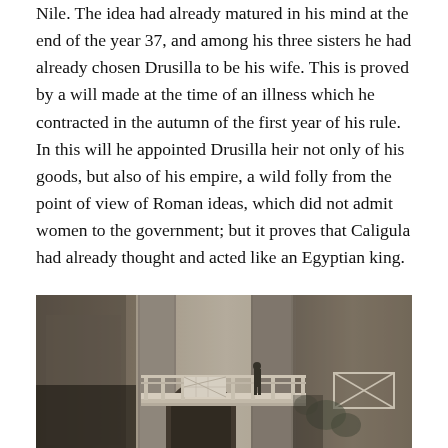Nile. The idea had already matured in his mind at the end of the year 37, and among his three sisters he had already chosen Drusilla to be his wife. This is proved by a will made at the time of an illness which he contracted in the autumn of the first year of his rule. In this will he appointed Drusilla heir not only of his goods, but also of his empire, a wild folly from the point of view of Roman ideas, which did not admit women to the government; but it proves that Caligula had already thought and acted like an Egyptian king.
[Figure (photo): Black and white photograph of ancient Roman ruins showing large stone columns and archways, with a wooden walkway/bridge structure visible in the middle, and a person standing on the walkway.]